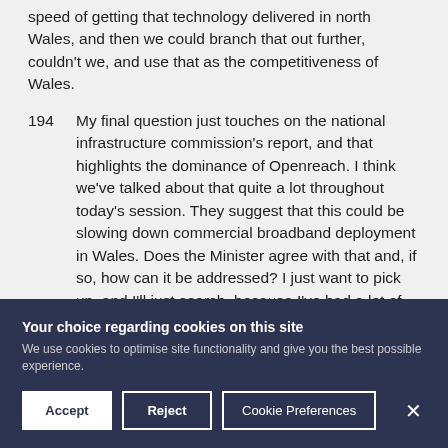speed of getting that technology delivered in north Wales, and then we could branch that out further, couldn't we, and use that as the competitiveness of Wales.
194 My final question just touches on the national infrastructure commission's report, and that highlights the dominance of Openreach. I think we've talked about that quite a lot throughout today's session. They suggest that this could be slowing down commercial broadband deployment in Wales. Does the Minister agree with that and, if so, how can it be addressed? I just want to pick up, and I'll just search, because I've had a lot of complaints about this in my constituency— A
Your choice regarding cookies on this site
We use cookies to optimise site functionality and give you the best possible experience.